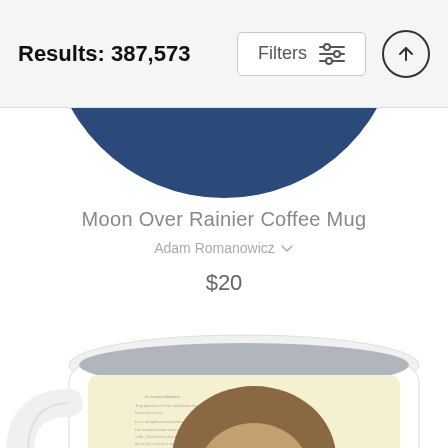Results: 387,573
Filters
[Figure (screenshot): Top navigation bar with results count, Filters button with sliders icon, and upload/up arrow circular button]
[Figure (photo): Partially visible dark navy blue circular product (mug) from above, only the top arc showing]
Moon Over Rainier Coffee Mug
Adam Romanowicz
$20
[Figure (photo): White coffee mug with a cream/yellow background featuring an illustrated sloth wearing glasses holding a small mug, printed on vintage book page background. The mug is photographed from the front showing the handle on the left side.]